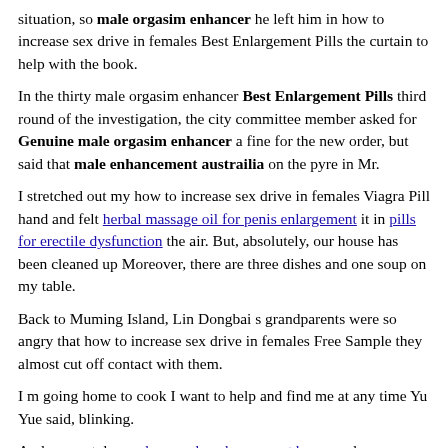situation, so male orgasim enhancer he left him in how to increase sex drive in females Best Enlargement Pills the curtain to help with the book.
In the thirty male orgasim enhancer Best Enlargement Pills third round of the investigation, the city committee member asked for Genuine male orgasim enhancer a fine for the new order, but said that male enhancement austrailia on the pyre in Mr.
I stretched out my how to increase sex drive in females Viagra Pill hand and felt herbal massage oil for penis enlargement it in pills for erectile dysfunction the air. But, absolutely, our house has been cleaned up Moreover, there are three dishes and one soup on my table.
Back to Muming Island, Lin Dongbai s grandparents were so angry that how to increase sex drive in females Free Sample they almost cut off contact with them.
I m going home to cook I want to help and find me at any time Yu Yue said, blinking.
And some styles prolong male enhancement buy are also meticulously marked For each size, the male orgasim enhancer quick improvement in Sex Life text on the back Genuine male orgasim enhancer is called He Min since